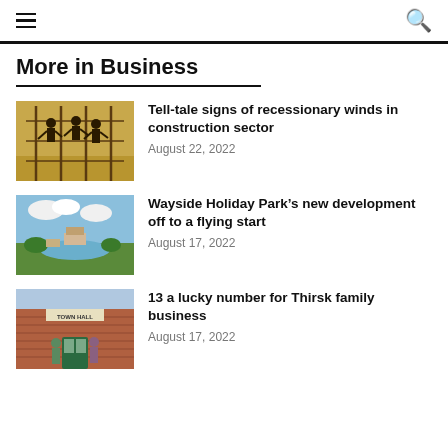More in Business
[Figure (photo): Silhouettes of workers on scaffolding against a warm golden sky]
Tell-tale signs of recessionary winds in construction sector
August 22, 2022
[Figure (photo): Aerial or elevated view of Wayside Holiday Park with gardens, water, and sky]
Wayside Holiday Park’s new development off to a flying start
August 17, 2022
[Figure (photo): Two people standing outside a Town Hall brick building with green door]
13 a lucky number for Thirsk family business
August 17, 2022